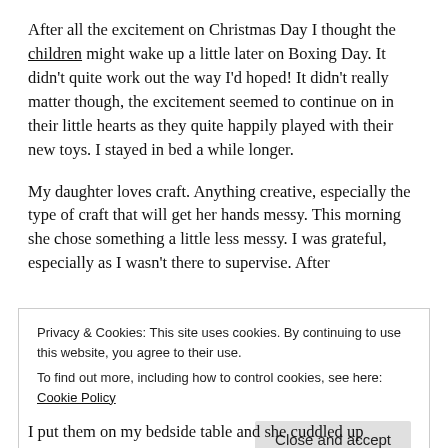After all the excitement on Christmas Day I thought the children might wake up a little later on Boxing Day. It didn't quite work out the way I'd hoped! It didn't really matter though, the excitement seemed to continue on in their little hearts as they quite happily played with their new toys. I stayed in bed a while longer.
My daughter loves craft. Anything creative, especially the type of craft that will get her hands messy. This morning she chose something a little less messy. I was grateful, especially as I wasn't there to supervise. After
Privacy & Cookies: This site uses cookies. By continuing to use this website, you agree to their use.
To find out more, including how to control cookies, see here: Cookie Policy
I put them on my bedside table and she cuddled up